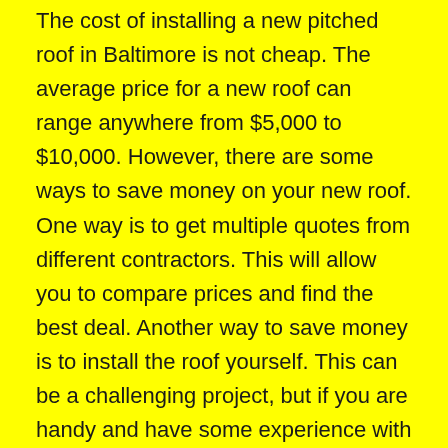The cost of installing a new pitched roof in Baltimore is not cheap. The average price for a new roof can range anywhere from $5,000 to $10,000. However, there are some ways to save money on your new roof. One way is to get multiple quotes from different contractors. This will allow you to compare prices and find the best deal. Another way to save money is to install the roof yourself. This can be a challenging project, but if you are handy and have some experience with home improvement projects, it is certainly possible. Finally, be sure to research any rebates or tax credits that may be available to help offset the cost of your new roof.
If you are thinking about getting a new pitched roof in Baltimore, there are a few things you need to know. First, the cost can be significant. However, there are ways to save money on the cost of Baltimore and